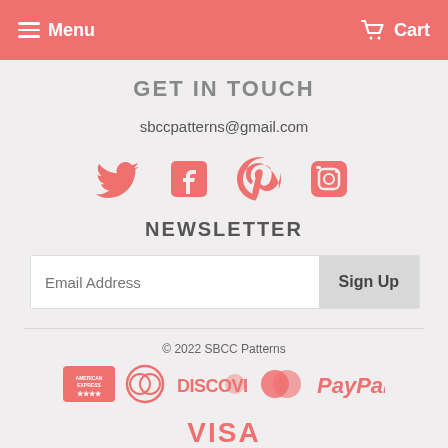Menu  Cart
GET IN TOUCH
sbccpatterns@gmail.com
[Figure (illustration): Four social media icons: Twitter bird, Facebook F, Pinterest P, Instagram camera — all in salmon/coral color]
NEWSLETTER
Email Address  Sign Up
© 2022 SBCC Patterns
[Figure (illustration): Payment method logos: American Express, Diners Club, Discover, MasterCard, PayPal — all in coral/salmon color]
[Figure (illustration): VISA logo in coral/salmon color]